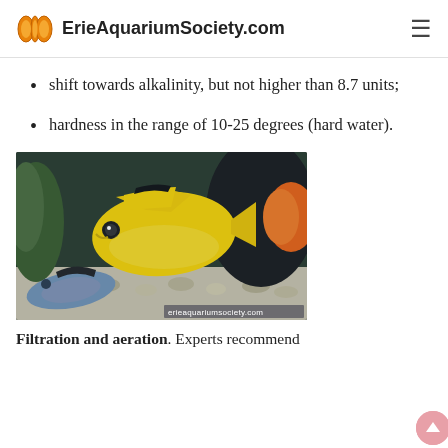ErieAquariumSociety.com
shift towards alkalinity, but not higher than 8.7 units;
hardness in the range of 10-25 degrees (hard water).
[Figure (photo): A bright yellow cichlid fish with black stripe markings swimming in an aquarium with other fish, gravel, and plants in the background. Watermark: erieaquariumsociety.com]
Filtration and aeration. Experts recommend